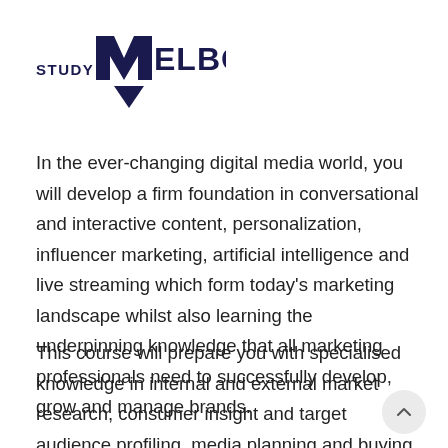[Figure (logo): Study Melbourne logo with dark navy triangle/chevron shape and bold text 'STUDY MELBOURNE']
In the ever-changing digital media world, you will develop a firm foundation in conversational and interactive content, personalization, influencer marketing, artificial intelligence and live streaming which form today's marketing landscape whilst also learning the underpinning knowledge that all marketing professionals need to successfully develop, grow and manage brands.
This course will prepare you with specialised knowledge in internal and external market research, consumer insight and target audience profiling, media planning and buying, strategic business marketing and research in business, social media marketing and